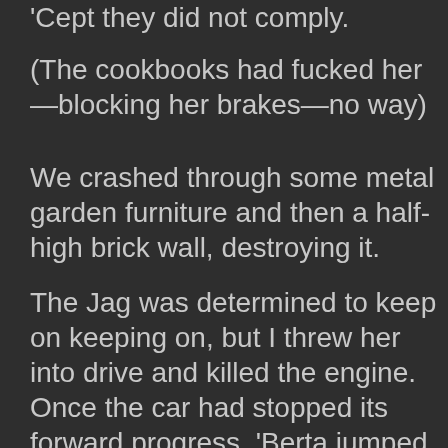'Cept they did not comply.
(The cookbooks had fucked her—blocking her brakes—no way)
We crashed through some metal garden furniture and then a half-high brick wall, destroying it.
The Jag was determined to keep on keeping on, but I threw her into drive and killed the engine.
Once the car had stopped its forward progress, 'Berta jumped out and did her best impersonation of Leaf Lady: